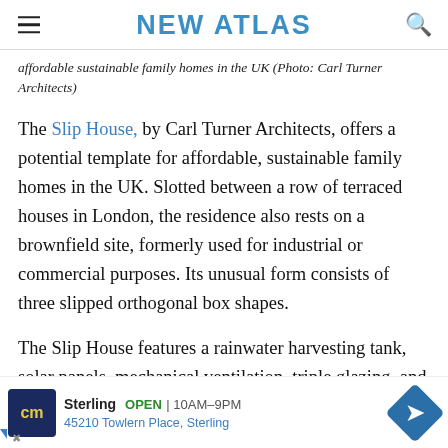NEW ATLAS
affordable sustainable family homes in the UK (Photo: Carl Turner Architects)
The Slip House, by Carl Turner Architects, offers a potential template for affordable, sustainable family homes in the UK. Slotted between a row of terraced houses in London, the residence also rests on a brownfield site, formerly used for industrial or commercial purposes. Its unusual form consists of three slipped orthogonal box shapes.
The Slip House features a rainwater harvesting tank, solar panels, mechanical ventilation, triple glazing, and a … up to 1092 5… … to the